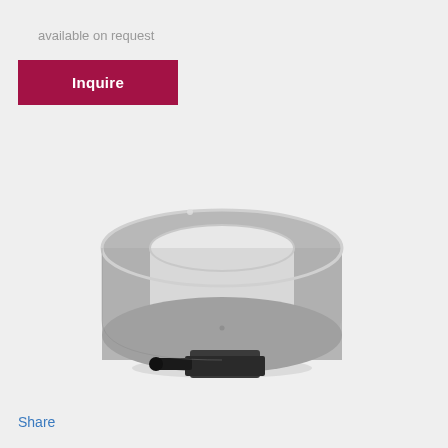available on request
Inquire
[Figure (illustration): 3D rendering of a circular ring/slipring encoder component in gray, mounted on a black base with a connector port, viewed from a slight angle.]
Share